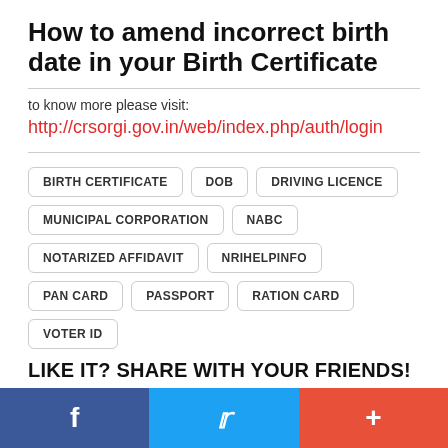How to amend incorrect birth date in your Birth Certificate
to know more please visit:
http://crsorgi.gov.in/web/index.php/auth/login
BIRTH CERTIFICATE
DOB
DRIVING LICENCE
MUNICIPAL CORPORATION
NABC
NOTARIZED AFFIDAVIT
NRIHELPINFO
PAN CARD
PASSPORT
RATION CARD
VOTER ID
LIKE IT? SHARE WITH YOUR FRIENDS!
Facebook | Twitter | More